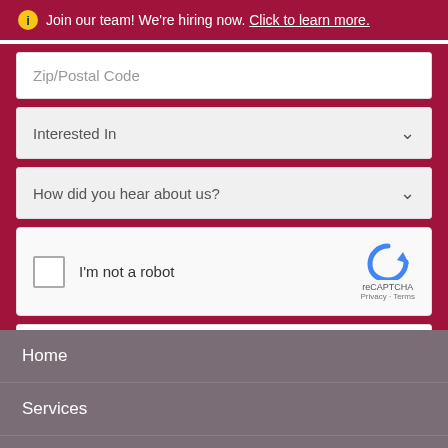ℹ Join our team! We're hiring now. Click to learn more.
Zip/Postal Code
Interested In
How did you hear about us?
[Figure (other): reCAPTCHA widget with checkbox labeled 'I'm not a robot' and reCAPTCHA logo with Privacy and Terms links]
Submit →
Home
Services
About Us